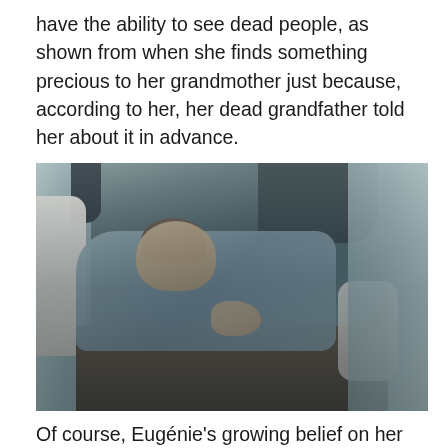have the ability to see dead people, as shown from when she finds something precious to her grandmother just because, according to her, her dead grandfather told her about it in advance.
[Figure (photo): A dramatic film still showing a young woman with her head on a table, looking upward, surrounded by standing figures in a dimly lit scene.]
Of course, Eugénie's growing belief on her special power is not accepted well by her family at all. On one day, her